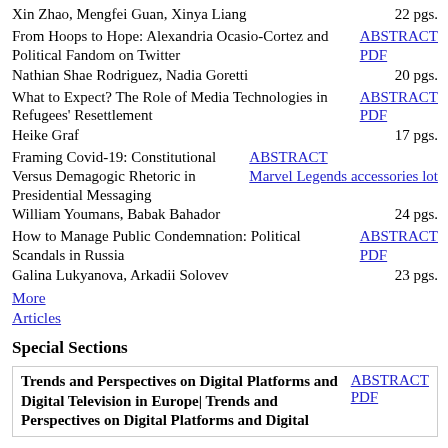Xin Zhao, Mengfei Guan, Xinya Liang    22 pgs.
From Hoops to Hope: Alexandria Ocasio-Cortez and Political Fandom on Twitter   ABSTRACT PDF
Nathian Shae Rodriguez, Nadia Goretti    20 pgs.
What to Expect? The Role of Media Technologies in Refugees' Resettlement   ABSTRACT PDF
Heike Graf    17 pgs.
Framing Covid-19: Constitutional Versus Demagogic Rhetoric in Presidential Messaging   ABSTRACT Marvel Legends accessories lot
William Youmans, Babak Bahador    24 pgs.
How to Manage Public Condemnation: Political Scandals in Russia   ABSTRACT PDF
Galina Lukyanova, Arkadii Solovev    23 pgs.
More Articles
Special Sections
Trends and Perspectives on Digital Platforms and Digital Television in Europe| Trends and Perspectives on Digital Platforms and Digital   ABSTRACT PDF